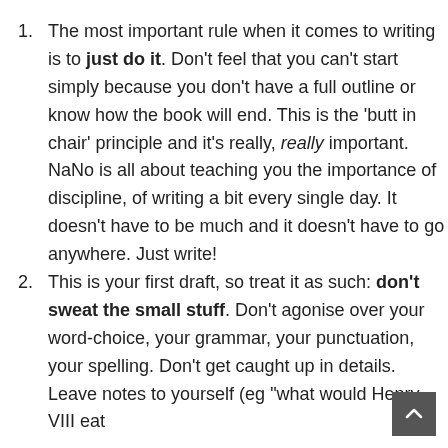The most important rule when it comes to writing is to just do it. Don't feel that you can't start simply because you don't have a full outline or know how the book will end. This is the 'butt in chair' principle and it's really, really important. NaNo is all about teaching you the importance of discipline, of writing a bit every single day. It doesn't have to be much and it doesn't have to go anywhere. Just write!
This is your first draft, so treat it as such: don't sweat the small stuff. Don't agonise over your word-choice, your grammar, your punctuation, your spelling. Don't get caught up in details. Leave notes to yourself (eg "what would Henry VIII eat for lunch?") rather than stop to research.